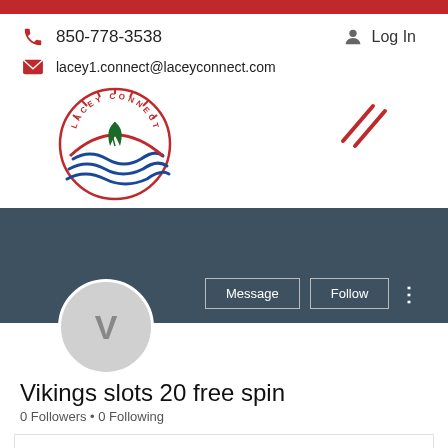red top bar
850-778-3538
Log In
lacey1.connect@laceyconnect.com
[Figure (logo): Lacey Connect circular logo with sun, leaves, and blue wave stripes]
[Figure (illustration): Two diagonal red lines decoration]
[Figure (screenshot): Dark teal/grey profile card area with Message and Follow buttons]
[Figure (illustration): Grey circle avatar with letter V]
Vikings slots 20 free spin
0 Followers • 0 Following